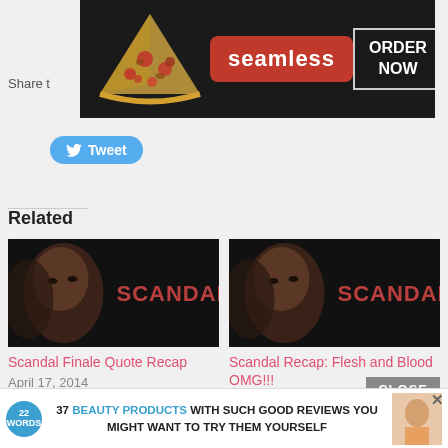[Figure (screenshot): Seamless food delivery banner ad with pizza image, seamless logo in red, and ORDER NOW button]
Share t
[Figure (screenshot): Twitter Tweet button in blue]
Related
[Figure (photo): Scandal TV show promotional image - woman's face with SCANDAL text in red]
Scandal Finale Quote Recap
April 17, 2014
In "Entertainment News"
[Figure (photo): Scandal TV show promotional image - woman's face with SCANDAL text in red]
Scandal Recap: Flesh and Blood OMG!!!
April 10, 2014
In "Entertainment News"
[Figure (screenshot): Partial view of another related article thumbnail showing TV studio]
[Figure (screenshot): Bottom advertisement: 37 BEAUTY PRODUCTS WITH SUCH GOOD REVIEWS YOU MIGHT WANT TO TRY THEM YOURSELF - 22 Words]
CLOSE